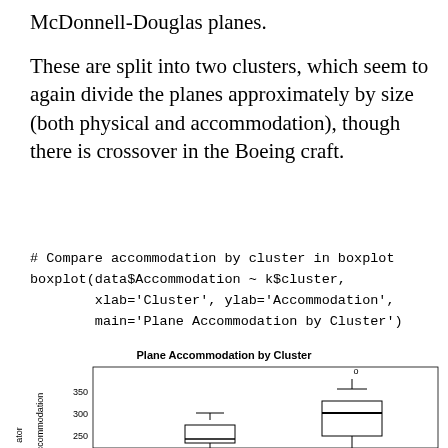McDonnell-Douglas planes.
These are split into two clusters, which seem to again divide the planes approximately by size (both physical and accommodation), though there is crossover in the Boeing craft.
[Figure (other): Partial boxplot titled 'Plane Accommodation by Cluster' showing two box plots for two clusters. Y-axis shows values around 250-350, with cluster 2 having a higher range and an outlier marked 'o'. Chart is cropped at the bottom.]